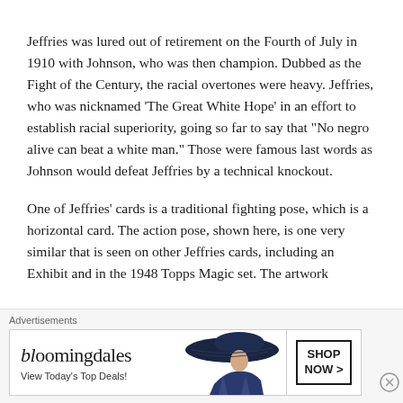Jeffries was lured out of retirement on the Fourth of July in 1910 with Johnson, who was then champion. Dubbed as the Fight of the Century, the racial overtones were heavy. Jeffries, who was nicknamed ‘The Great White Hope’ in an effort to establish racial superiority, going so far to say that “No negro alive can beat a white man.” Those were famous last words as Johnson would defeat Jeffries by a technical knockout.
One of Jeffries’ cards is a traditional fighting pose, which is a horizontal card. The action pose, shown here, is one very similar that is seen on other Jeffries cards, including an Exhibit and in the 1948 Topps Magic set. The artwork
Advertisements
[Figure (other): Bloomingdale’s advertisement banner with logo, tagline ‘View Today’s Top Deals!’, a woman wearing a large brimmed hat, and a ‘SHOP NOW >’ button]